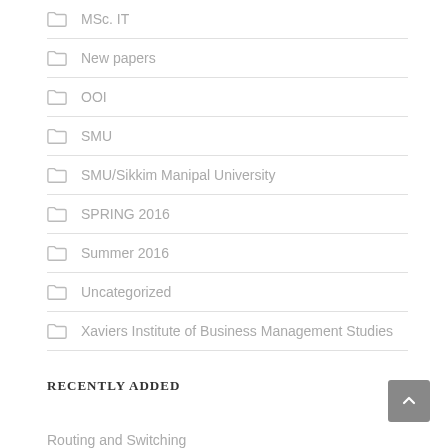MSc. IT
New papers
OOI
SMU
SMU/Sikkim Manipal University
SPRING 2016
Summer 2016
Uncategorized
Xaviers Institute of Business Management Studies
RECENTLY ADDED
Routing and Switching